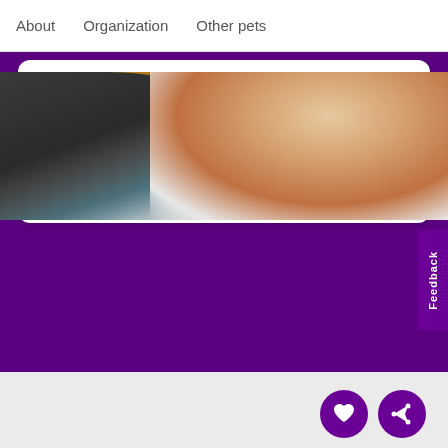About   Organization   Other pets
...adopted Bink (Gus was his name at the shelter) at the end of January 2020. He was shy at first and took some time to warm up. H...
READ MORE
[Figure (photo): Photo of two people, one darker-skinned and one lighter-skinned woman smiling, partial crop showing faces and upper bodies]
Feedback